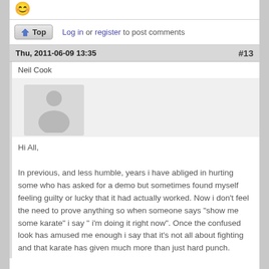[Figure (illustration): Smiley emoji face (yellow) in top section]
Log in or register to post comments
Thu, 2011-06-09 13:35   #13
Neil Cook
[Figure (illustration): Default user avatar placeholder (gray silhouette of a person)]
Hi All,

In previous, and less humble, years i have abliged in hurting some who has asked for a demo but sometimes found myself feeling guilty or lucky that it had actually worked. Now i don't feel the need to prove anything so when someone says "show me some karate" i say " i'm doing it right now". Once the confused look has amused me enough i say that it's not all about fighting and that karate has given much more than just hard punch.